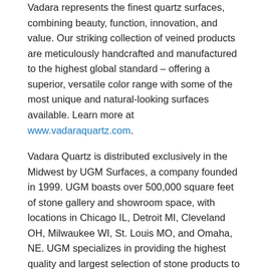Vadara represents the finest quartz surfaces, combining beauty, function, innovation, and value. Our striking collection of veined products are meticulously handcrafted and manufactured to the highest global standard – offering a superior, versatile color range with some of the most unique and natural-looking surfaces available. Learn more at www.vadaraquartz.com.
Vadara Quartz is distributed exclusively in the Midwest by UGM Surfaces, a company founded in 1999. UGM boasts over 500,000 square feet of stone gallery and showroom space, with locations in Chicago IL, Detroit MI, Cleveland OH, Milwaukee WI, St. Louis MO, and Omaha, NE. UGM specializes in providing the highest quality and largest selection of stone products to meet the needs of builders, contractors, fabricators, retailers, architects, interior designers, and tile distributors from around the United States. www.ugmsurfaces.com
About LuxeHome®